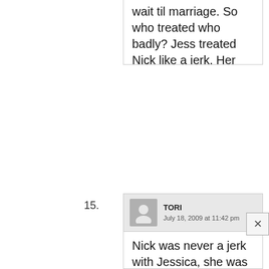wait til marriage. So who treated who badly? Jess treated Nick like a jerk. Her family should have respect for Nick because he didn't treat her like a piece of meat like John and Tony. She claim she had other secret lovers what a little slut but Nick was the only one that made her decent the others just got their freak on with her>I don't think Nick wants her passed around butt not after waiting on her until marriage. So you Nick Lachey haters buzz off.
TORI
July 18, 2009 at 11:42 pm
Nick was never a jerk with Jessica, she was a jerk with him He treated her like a queen and put up with her spoiled,diva,me me me ways. He loved her unconditionally and she having the big head she does thinking she's so much better then everyone else